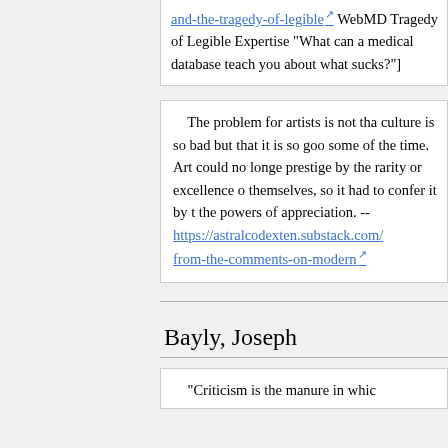[https://astralcodexten.substack.com/...and-the-tragedy-of-legible [icon] WebMD Tragedy of Legible Expertise "What can a medical database teach you about what sucks?"]
The problem for artists is not that culture is so bad but that it is so good some of the time. Art could no longer prestige by the rarity or excellence of themselves, so it had to confer it by the powers of appreciation. -- https://astralcodexten.substack.com/...from-the-comments-on-modern [icon]
Bayly, Joseph
"Criticism is the manure in which...